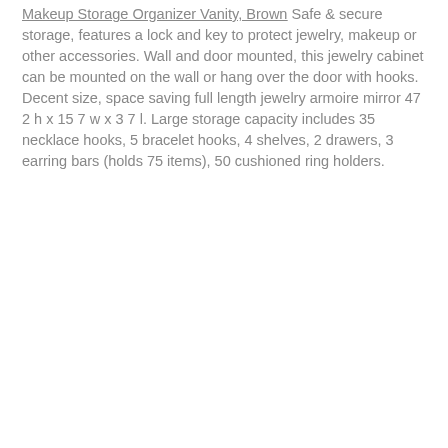Makeup Storage Organizer Vanity, Brown Safe & secure storage, features a lock and key to protect jewelry, makeup or other accessories. Wall and door mounted, this jewelry cabinet can be mounted on the wall or hang over the door with hooks. Decent size, space saving full length jewelry armoire mirror 47 2 h x 15 7 w x 3 7 l. Large storage capacity includes 35 necklace hooks, 5 bracelet hooks, 4 shelves, 2 drawers, 3 earring bars (holds 75 items), 50 cushioned ring holders.